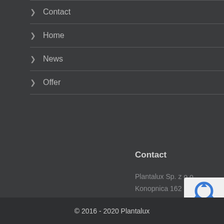> Contact
> Home
> News
> Offer
Contact
Plantalux Sp. z o.o.
Konopnica 162
21-030 Konopnica
Poland
[Figure (logo): Partial RODO/recycling badge icon visible at bottom right]
© 2016 - 2020 Plantalux